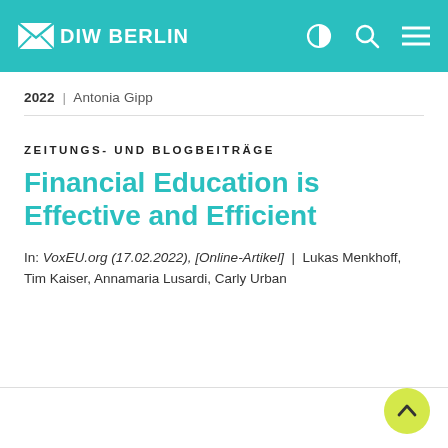DIW BERLIN
2022 | Antonia Gipp
ZEITUNGS- UND BLOGBEITRÄGE
Financial Education is Effective and Efficient
In: VoxEU.org (17.02.2022), [Online-Artikel] | Lukas Menkhoff, Tim Kaiser, Annamaria Lusardi, Carly Urban